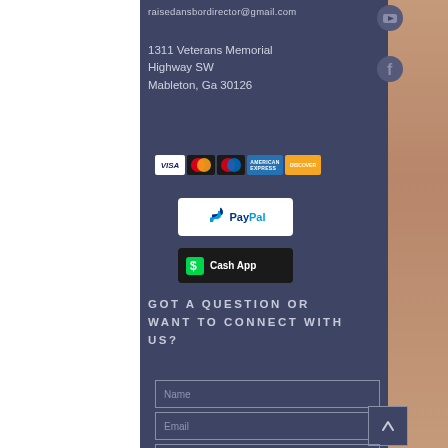raisedansbordirector@gmail.com
1311 Veterans Memorial Highway SW
Mableton, Ga 30126
[Figure (logo): Payment method icons: Visa, Mastercard, Maestro, American Express, Discover, PayPal, Cash App]
GOT A QUESTION OR WANT TO CONNECT WITH US?
Name
Email
Message